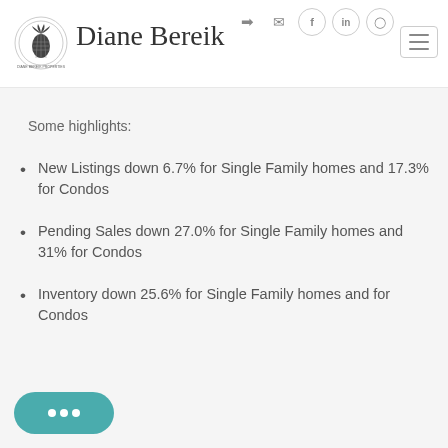[Figure (logo): Diane Bereik real estate logo with pineapple emblem and cursive signature]
Some highlights:
New Listings down 6.7% for Single Family homes and 17.3% for Condos
Pending Sales down 27.0% for Single Family homes and 31% for Condos
Inventory down 25.6% for Single Family homes and for Condos